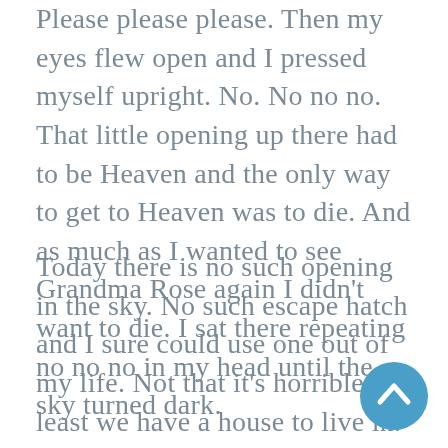Please please please. Then my eyes flew open and I pressed myself upright. No. No no no. That little opening up there had to be Heaven and the only way to get to Heaven was to die. And as much as I wanted to see Grandma Rose again I didn't want to die. I sat there repeating no no no in my head until the sky turned dark.
Today there is no such opening in the sky. No such escape hatch and I sure could use one out of my life. Not that it's horrible. At least we have a house to live in. Wade is working again at the paint and wallpaper store. He's able to pick-up some extra handyman work from some of the customers, mostly out-of-towners who've bought vacation homes up here. Wade can't get over how some people have a second home